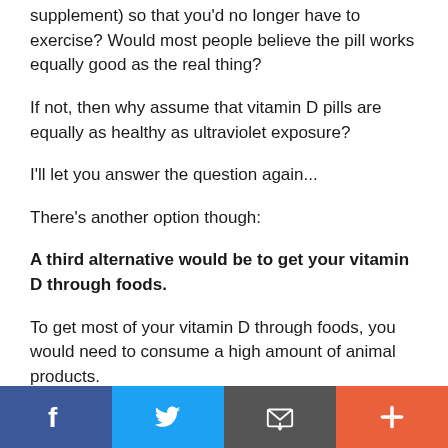supplement) so that you'd no longer have to exercise? Would most people believe the pill works equally good as the real thing?
If not, then why assume that vitamin D pills are equally as healthy as ultraviolet exposure?
I'll let you answer the question again...
There's another option though:
A third alternative would be to get your vitamin D through foods.
To get most of your vitamin D through foods, you would need to consume a high amount of animal products.
So for those, here are the best vitamin d...
[Figure (other): Social media sharing bar with Facebook, Twitter, Email, and Plus buttons]